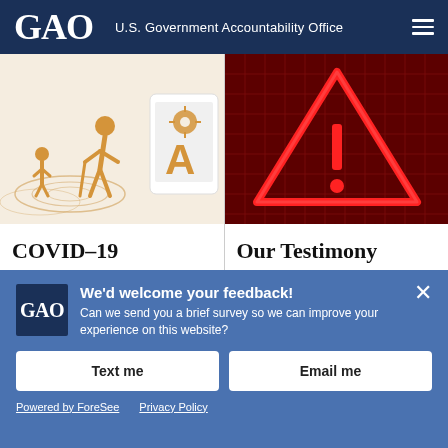GAO U.S. Government Accountability Office
[Figure (illustration): COVID-19 card with illustration of people practicing social distancing with concentric circles]
[Figure (illustration): Our Testimony card with red warning triangle alert icon on dark red grid background]
COVID-19
Our Testimony
We'd welcome your feedback! Can we send you a brief survey so we can improve your experience on this website?
Text me
Email me
Powered by ForeSee   Privacy Policy